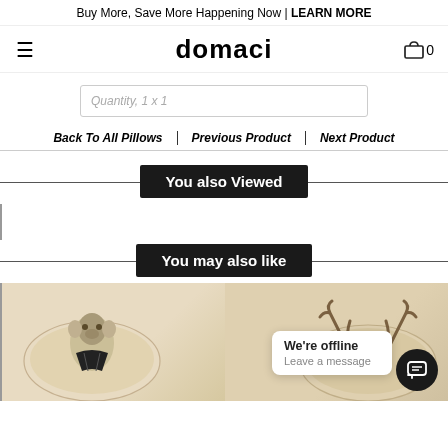Buy More, Save More Happening Now | LEARN MORE
domaci
Quantity, 1 x 1
Back To All Pillows | Previous Product | Next Product
You also Viewed
You may also like
[Figure (photo): Two decorative pillows: one featuring a cow/bull wearing a suit illustration, one featuring antlers illustration, on a beige/cream background.]
We're offline
Leave a message